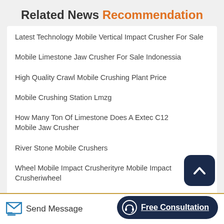Related News Recommendation
Latest Technology Mobile Vertical Impact Crusher For Sale
Mobile Limestone Jaw Crusher For Sale Indonessia
High Quality Crawl Mobile Crushing Plant Price
Mobile Crushing Station Lmzg
How Many Ton Of Limestone Does A Extec C12 Mobile Jaw Crusher
River Stone Mobile Crushers
Wheel Mobile Impact Crusherityre Mobile Impact Crusheriwheel
Britador Completo 62x40 Mobilecrusherchina
Send Message
Free Consultation